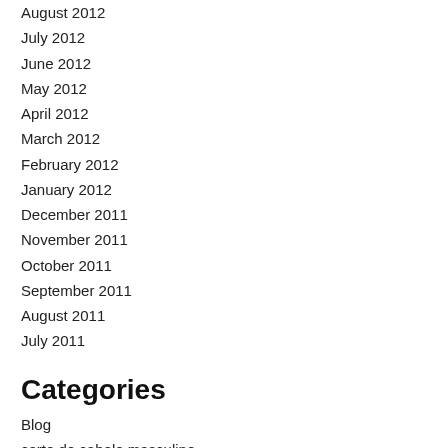August 2012
July 2012
June 2012
May 2012
April 2012
March 2012
February 2012
January 2012
December 2011
November 2011
October 2011
September 2011
August 2011
July 2011
Categories
Blog
corte de cabelo masculino
morena iluminada
tatuagem de leão